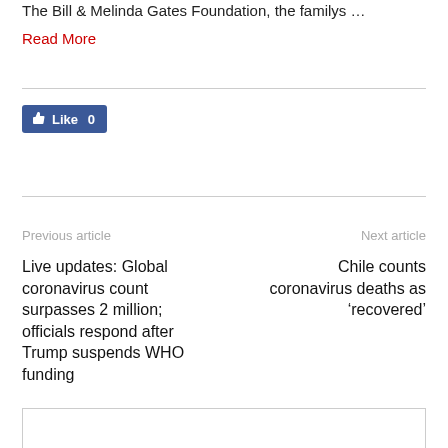The Bill & Melinda Gates Foundation, the familys …
Read More
[Figure (other): Facebook Like button showing count 0]
Previous article
Next article
Live updates: Global coronavirus count surpasses 2 million; officials respond after Trump suspends WHO funding
Chile counts coronavirus deaths as 'recovered'